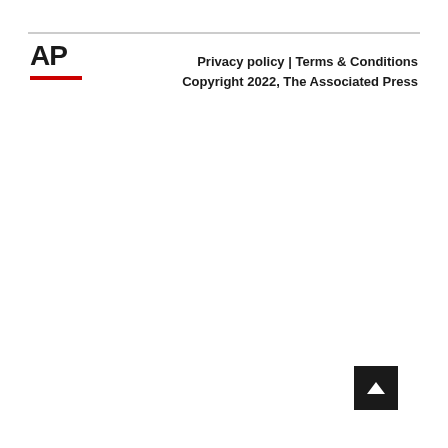[Figure (logo): AP (Associated Press) logo in bold black text with red underline bar]
Privacy policy | Terms & Conditions
Copyright 2022, The Associated Press
[Figure (other): Back to top button — dark square with upward-pointing chevron/arrow]